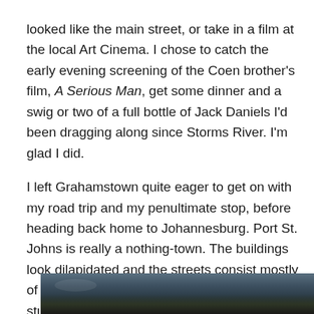looked like the main street, or take in a film at the local Art Cinema. I chose to catch the early evening screening of the Coen brother's film, A Serious Man, get some dinner and a swig or two of a full bottle of Jack Daniels I'd been dragging along since Storms River. I'm glad I did.

I left Grahamstown quite eager to get on with my road trip and my penultimate stop, before heading back home to Johannesburg. Port St. Johns is really a nothing-town. The buildings look dilapidated and the streets consist mostly of potholes. But the scenery is absolutely stunning. There isn't any night-life to speak off, and from what I could make out there were only two restaurants available. However the food was quite good at the one I visited alongside the river on my first night there.
[Figure (photo): Landscape photograph showing a scenic outdoor scene, partially visible at the bottom of the page — dark treeline silhouette against a dusky sky.]